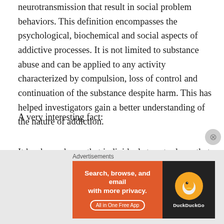neurotransmission that result in social problem behaviors. This definition encompasses the psychological, biochemical and social aspects of addictive processes. It is not limited to substance abuse and can be applied to any activity characterized by compulsion, loss of control and continuation of the substance despite harm. This has helped investigators gain a better understanding of the nature of addiction.
A very interesting fact:
It has been shown that individuals turn to drugs that elicit a mood or level of arousal consistent with their mode of
[Figure (other): DuckDuckGo advertisement banner: orange left panel with text 'Search, browse, and email with more privacy. All in One Free App' and dark right panel with DuckDuckGo logo]